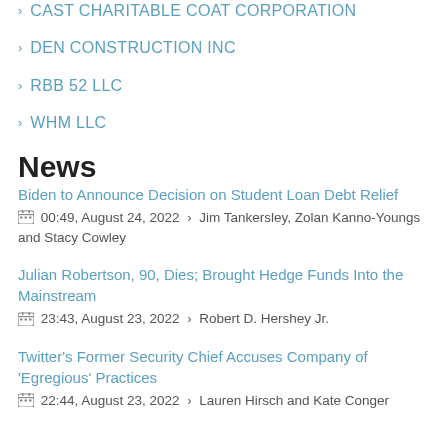TEALNG LLC
CAST CHARITABLE COAT CORPORATION
DEN CONSTRUCTION INC
RBB 52 LLC
WHM LLC
News
Biden to Announce Decision on Student Loan Debt Relief
00:49, August 24, 2022 › Jim Tankersley, Zolan Kanno-Youngs and Stacy Cowley
Julian Robertson, 90, Dies; Brought Hedge Funds Into the Mainstream
23:43, August 23, 2022 › Robert D. Hershey Jr.
Twitter's Former Security Chief Accuses Company of 'Egregious' Practices
22:44, August 23, 2022 › Lauren Hirsch and Kate Conger